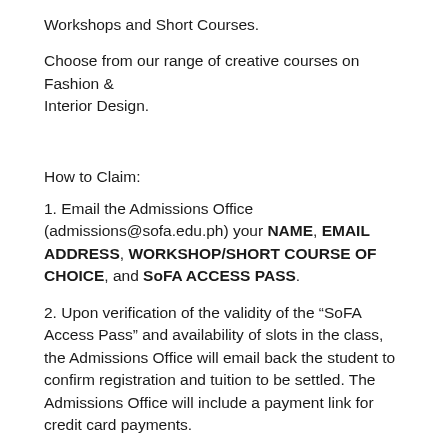Workshops and Short Courses.
Choose from our range of creative courses on Fashion & Interior Design.
How to Claim:
1. Email the Admissions Office (admissions@sofa.edu.ph) your NAME, EMAIL ADDRESS, WORKSHOP/SHORT COURSE OF CHOICE, and SoFA ACCESS PASS.
2. Upon verification of the validity of the “SoFA Access Pass” and availability of slots in the class, the Admissions Office will email back the student to confirm registration and tuition to be settled. The Admissions Office will include a payment link for credit card payments.
3. The student must settle tuition via the payment link provided or via bank deposit. 4. If payment is settled via bank deposit, the student must email the Cashier (cashier@sofa.edu.ph) their